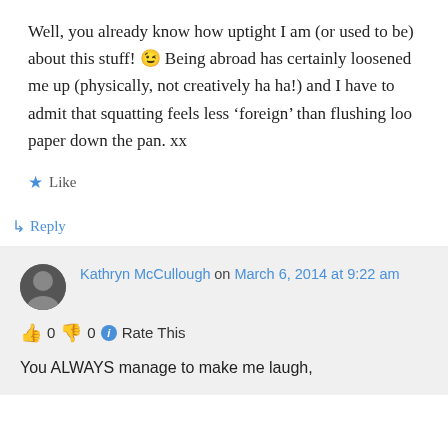Well, you already know how uptight I am (or used to be) about this stuff! 😉 Being abroad has certainly loosened me up (physically, not creatively ha ha!) and I have to admit that squatting feels less ‘foreign’ than flushing loo paper down the pan. xx
★ Like
↳ Reply
Kathryn McCullough on March 6, 2014 at 9:22 am
👍 0 👎 0 ℹ Rate This
You ALWAYS manage to make me laugh,